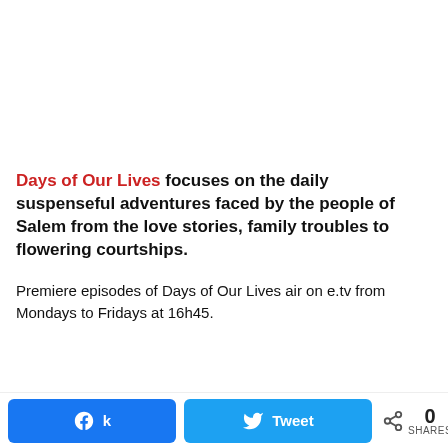Days of Our Lives focuses on the daily suspenseful adventures faced by the people of Salem from the love stories, family troubles to flowering courtships.
Premiere episodes of Days of Our Lives air on e.tv from Mondays to Fridays at 16h45.
[Figure (infographic): Social share bar with Facebook and Twitter share buttons and a share count of 0]